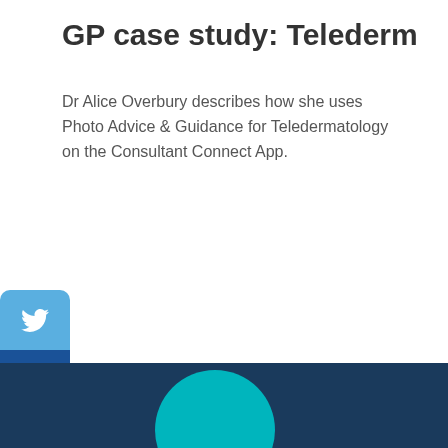GP case study: Telederm
Dr Alice Overbury describes how she uses Photo Advice & Guidance for Teledermatology on the Consultant Connect App.
[Figure (other): Twitter social share button (light blue rounded square with bird icon)]
[Figure (other): LinkedIn social share button (dark blue rounded square with 'in' text)]
[Figure (other): Teal rounded pill button labelled 'View all case studies']
[Figure (other): Grey scroll-to-top button with upward chevron icon]
[Figure (other): Dark navy footer band at the bottom of the page with a teal circle peeking up from the bottom edge]